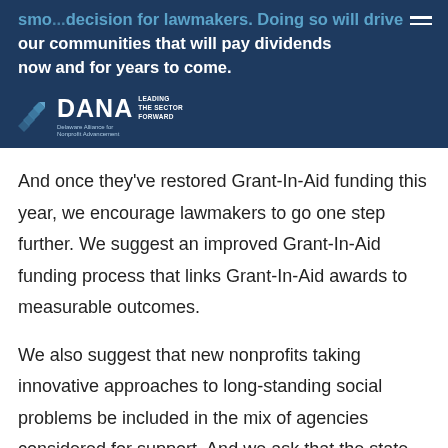smo... decision for lawmakers. Doing so will drive ...our communities that will pay dividends now and for years to come.
And once they've restored Grant-In-Aid funding this year, we encourage lawmakers to go one step further. We suggest an improved Grant-In-Aid funding process that links Grant-In-Aid awards to measurable outcomes.
We also suggest that new nonprofits taking innovative approaches to long-standing social problems be included in the mix of agencies considered for support. And we ask that the state form a task group comprised of nonprofits, foundations, and government to evaluate how the Grant-In-Aid process can be improved to deliver the most outcomes that this mission demands.